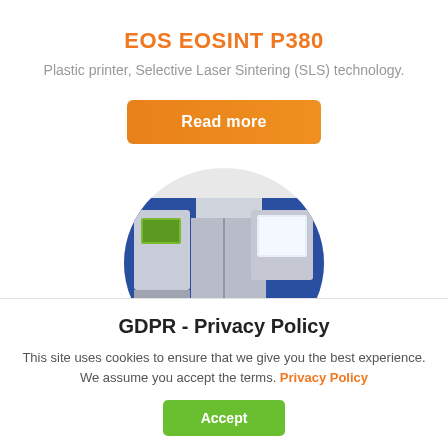EOS EOSINT P380
Plastic printer, Selective Laser Sintering (SLS) technology.
[Figure (other): Orange 'Read more' button]
[Figure (photo): Photo of EOS EOSINT P380 SLS plastic 3D printer machine shown in a circular crop, with blue body and grey panels, control panel and monitor visible]
GDPR - Privacy Policy
This site uses cookies to ensure that we give you the best experience. We assume you accept the terms. Privacy Policy
[Figure (other): Green 'Accept' button]